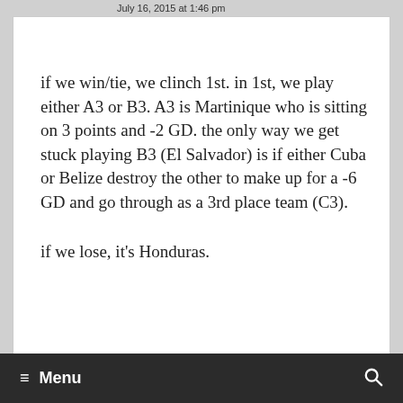July 16, 2015 at 1:46 pm
if we win/tie, we clinch 1st. in 1st, we play either A3 or B3. A3 is Martinique who is sitting on 3 points and -2 GD. the only way we get stuck playing B3 (El Salvador) is if either Cuba or Belize destroy the other to make up for a -6 GD and go through as a 3rd place team (C3).
if we lose, it's Honduras.
Menu